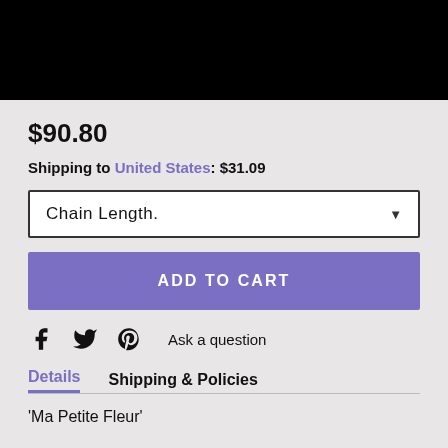[Figure (photo): Black rectangle image placeholder at top of page]
$90.80
Shipping to United States: $31.09
Chain Length.
ADD TO CART
Ask a question
Details   Shipping & Policies
'Ma Petite Fleur'